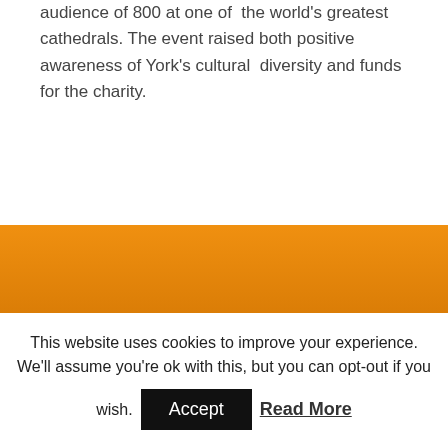audience of 800 at one of the world's greatest cathedrals. The event raised both positive awareness of York's cultural diversity and funds for the charity.
[Figure (other): Orange/amber colored banner or footer bar with text 'YUMI YORK © 2014' centered at the bottom]
This website uses cookies to improve your experience. We'll assume you're ok with this, but you can opt-out if you wish. Accept  Read More